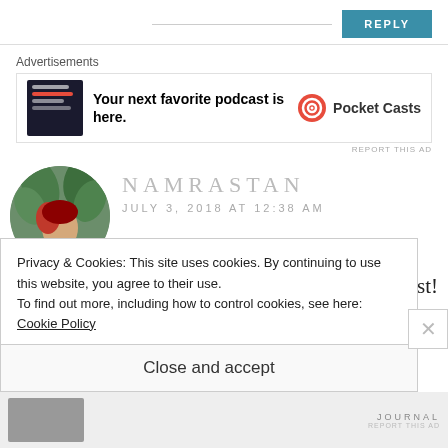REPLY
[Figure (screenshot): Advertisement banner for Pocket Casts podcast app with phone screenshot and logo]
REPORT THIS AD
NAMRASTAN
JULY 3, 2018 AT 12:38 AM
Thanks for an interesting post!
Privacy & Cookies: This site uses cookies. By continuing to use this website, you agree to their use.
To find out more, including how to control cookies, see here: Cookie Policy
Close and accept